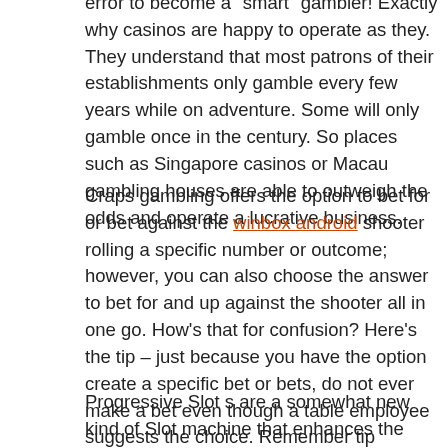error to become a "smart" gambler! Exactly why casinos are happy to operate as they. They understand that most patrons of their establishments only gamble every few years while on adventure. Some will only gamble once in the century. So places such as Singapore casinos or Macau gambling houses are able to outweigh the odds and operate a lucrative business.
Craps gambling offers the option to bet for or bet against the winbox android shooter rolling a specific number or outcome; however, you can also choose the answer to bet for and up against the shooter all in one go. How's that for confusion? Here's the tip – just because you have the option create a specific bet or bets, do not ever make a bet even though a table employee suggests the choice. Remember tip number two.
Progressive Slot s are a somewhat new kind of Slot machine that enhances the odds of winning in brick and mortar on line casino. These are normally joined together within an